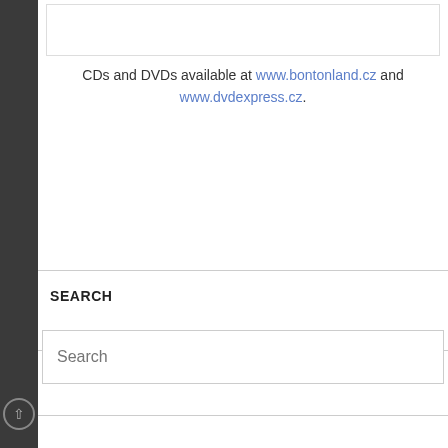CDs and DVDs available at www.bontonland.cz and www.dvdexpress.cz.
SEARCH